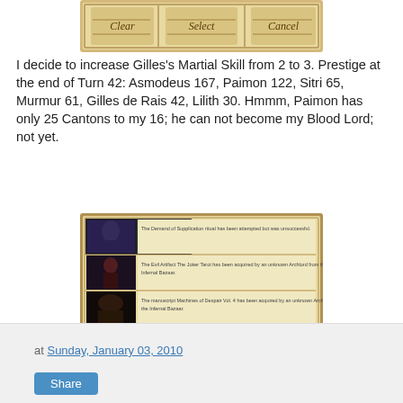[Figure (screenshot): Game UI screenshot showing Clear, Select, Cancel buttons on a parchment-style background]
I decide to increase Gilles's Martial Skill from 2 to 3. Prestige at the end of Turn 42: Asmodeus 167, Paimon 122, Sitri 65, Murmur 61, Gilles de Rais 42, Lilith 30. Hmmm, Paimon has only 25 Cantons to my 16; he can not become my Blood Lord; not yet.
[Figure (screenshot): Game event log screenshot showing three events with thumbnails on left and text descriptions on right, parchment background]
To be continued...
at Sunday, January 03, 2010  Share